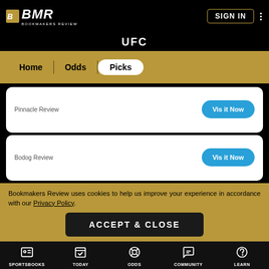BMR BOOKMAKERS REVIEW — SIGN IN
UFC
Home | Odds | Picks
Pinnacle Review
Visit Now
Bodog Review
Visit Now
William Hill Review
Read full review here
Bookmakers Review uses cookies to help us improve your experience in accordance with our Privacy Policy.
ACCEPT & CLOSE
SPORTSBOOKS  TODAY  ODDS  COMMUNITY  LEARN